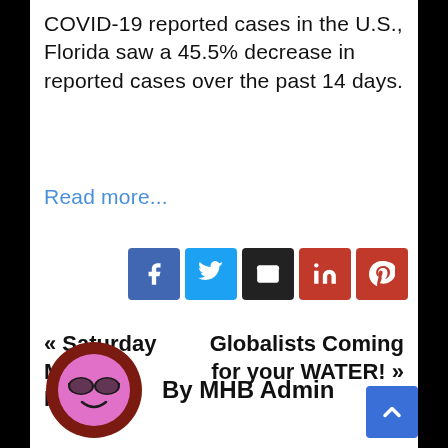COVID-19 reported cases in the U.S., Florida saw a 45.5% decrease in reported cases over the past 14 days.
Read more...
[Figure (other): Social share buttons: Facebook, Twitter, Email, LinkedIn, Pinterest]
« Saturday Morning Funnies
Globalists Coming for your WATER! »
[Figure (illustration): Author avatar: pink emoji face with sunglasses, dark red circular border]
By MHB Admin